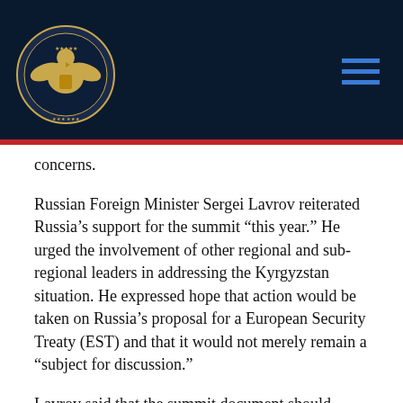Commission on Security and Cooperation in Europe header with seal
concerns.
Russian Foreign Minister Sergei Lavrov reiterated Russia's support for the summit “this year.” He urged the involvement of other regional and sub-regional leaders in addressing the Kyrgyzstan situation. He expressed hope that action would be taken on Russia’s proposal for a European Security Treaty (EST) and that it would not merely remain a “subject for discussion.”
Lavrov said that the summit document should reflect the post Cold War situation and the security system that emerges should be “free of dividing lines.” He said that Russia was studying NATO’s response to the EST proposal and underlined that the summit should give strong, political impetus for supporting Kyrgyzstan.